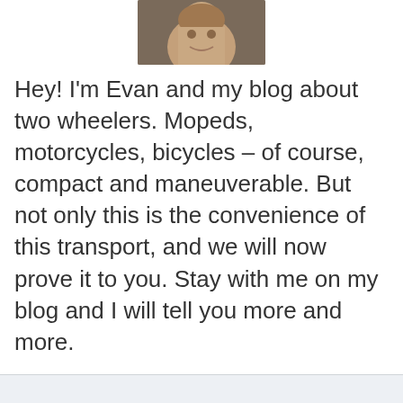[Figure (photo): Photo of Evan – a person's face shown from forehead to chin, cropped at top of image]
Hey! I'm Evan and my blog about two wheelers. Mopeds, motorcycles, bicycles – of course, compact and maneuverable. But not only this is the convenience of this transport, and we will now prove it to you. Stay with me on my blog and I will tell you more and more.
About us
Contact
Privacy Policy & Cookies
ATTENTION TO RIGHT HOLDERS! All materials are posted on the site strictly for informational and educational purposes! If